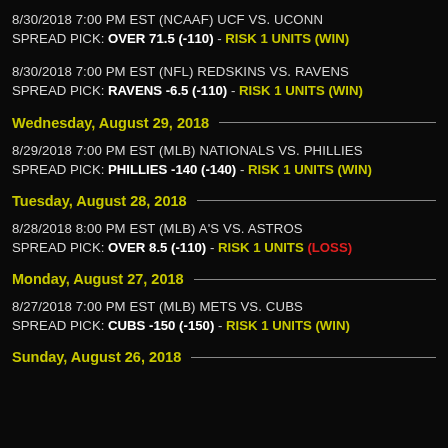8/30/2018 7:00 PM EST (NCAAF) UCF VS. UCONN
SPREAD PICK: OVER 71.5 (-110) - RISK 1 UNITS (WIN)
8/30/2018 7:00 PM EST (NFL) REDSKINS VS. RAVENS
SPREAD PICK: RAVENS -6.5 (-110) - RISK 1 UNITS (WIN)
Wednesday, August 29, 2018
8/29/2018 7:00 PM EST (MLB) NATIONALS VS. PHILLIES
SPREAD PICK: PHILLIES -140 (-140) - RISK 1 UNITS (WIN)
Tuesday, August 28, 2018
8/28/2018 8:00 PM EST (MLB) A'S VS. ASTROS
SPREAD PICK: OVER 8.5 (-110) - RISK 1 UNITS (LOSS)
Monday, August 27, 2018
8/27/2018 7:00 PM EST (MLB) METS VS. CUBS
SPREAD PICK: CUBS -150 (-150) - RISK 1 UNITS (WIN)
Sunday, August 26, 2018